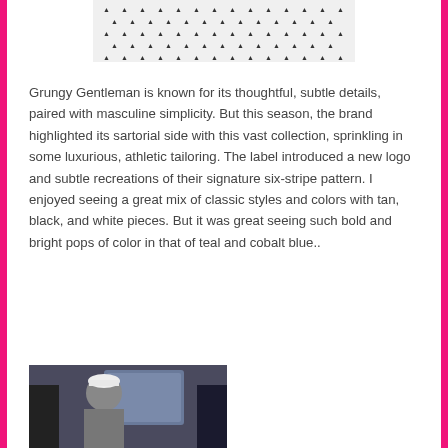[Figure (photo): Top cropped photo showing a patterned fabric with small repeated dark arrow/chevron motifs on a white/light background.]
Grungy Gentleman is known for its thoughtful, subtle details, paired with masculine simplicity. But this season, the brand highlighted its sartorial side with this vast collection, sprinkling in some luxurious, athletic tailoring. The label introduced a new logo and subtle recreations of their signature six-stripe pattern. I enjoyed seeing a great mix of classic styles and colors with tan, black, and white pieces. But it was great seeing such bold and bright pops of color in that of teal and cobalt blue..
[Figure (photo): Bottom partially visible photo of a man wearing a white cap, shown from mid-torso up, with a dark background.]